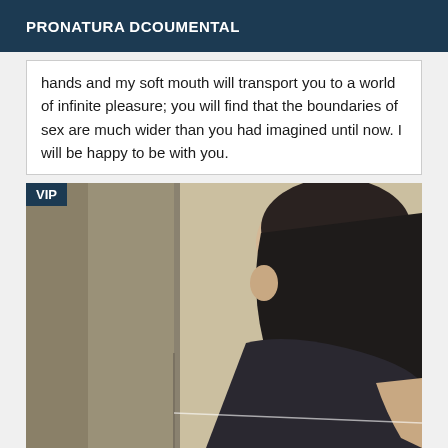PRONATURA DCOUMENTAL
hands and my soft mouth will transport you to a world of infinite pleasure; you will find that the boundaries of sex are much wider than you had imagined until now. I will be happy to be with you.
[Figure (photo): Close-up photo of a person with dark hair, partially visible face, wearing a dark top, with a light-colored wall in the background. A VIP badge label appears in the top-left corner.]